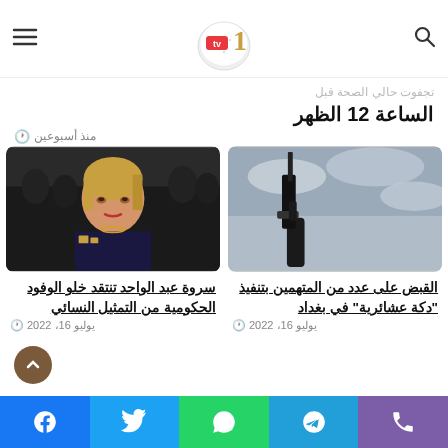TV1 logo, hamburger menu, search icon
الساعة 12 الظهر
تجفوت حالي الصحة قبل
منذ أسبوعين
[Figure (photo): Person holding a rifle/machine gun against a cloudy sky]
القبض على عدد من المتهمين بتنفيذ "دكة عشائرية" في بغداد
يوليو 16، 2022
[Figure (photo): Woman with blonde hair wearing a dark embroidered jacket, standing in front of people in black]
سروة عبد الواحد تنتقد خلو الوفود الحكومية من التمثيل النسائي
يوليو 16، 2022
Social share buttons: phone, telegram, whatsapp, twitter, facebook